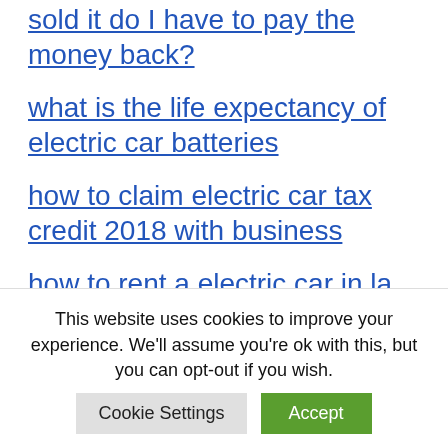sold it do I have to pay the money back?
what is the life expectancy of electric car batteries
how to claim electric car tax credit 2018 with business
how to rent a electric car in la
how much an used electric car cost in the netherlands
are electric cars worht the money
This website uses cookies to improve your experience. We'll assume you're ok with this, but you can opt-out if you wish.
Cookie Settings | Accept